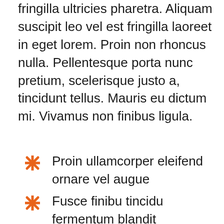fringilla ultricies pharetra. Aliquam suscipit leo vel est fringilla laoreet in eget lorem. Proin non rhoncus nulla. Pellentesque porta nunc pretium, scelerisque justo a, tincidunt tellus. Mauris eu dictum mi. Vivamus non finibus ligula.
Proin ullamcorper eleifend ornare vel augue
Fusce finibu tincidu fermentum blandit
Vestibulum ante ipsum fames in